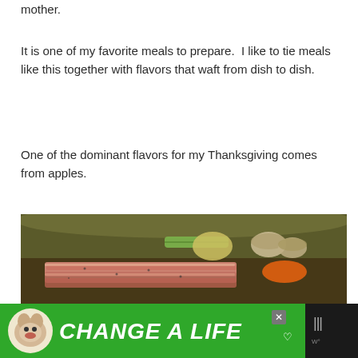mother.
It is one of my favorite meals to prepare.  I like to tie meals like this together with flavors that waft from dish to dish.
One of the dominant flavors for my Thanksgiving comes from apples.
[Figure (photo): A large pot or Dutch oven containing a roast covered with strips of bacon, surrounded by vegetables including celery, mushrooms, carrots, and potatoes in a braising liquid.]
[Figure (other): Advertisement banner with green background showing a dog and text 'CHANGE A LIFE' with a close button and logo on dark bar.]